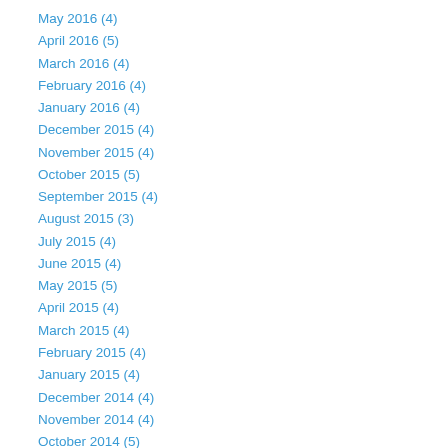May 2016 (4)
April 2016 (5)
March 2016 (4)
February 2016 (4)
January 2016 (4)
December 2015 (4)
November 2015 (4)
October 2015 (5)
September 2015 (4)
August 2015 (3)
July 2015 (4)
June 2015 (4)
May 2015 (5)
April 2015 (4)
March 2015 (4)
February 2015 (4)
January 2015 (4)
December 2014 (4)
November 2014 (4)
October 2014 (5)